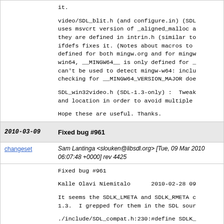it.

video/SDL_blit.h (and configure.in) (SDL uses msvcrt version of _aligned_malloc a they are defined in intrin.h (similar to ifdefs fixes it. (Notes about macros to defined for both mingw.org and for mingw win64, __MINGW64__ is only defined for _ can't be used to detect mingw-w64: inclu checking for __MINGW64_VERSION_MAJOR doe

SDL_win32video.h (SDL-1.3-only) : Tweak and location in order to avoid multiple

Hope these are useful. Thanks.
2010-03-09    Fixed bug #961
changeset    Sam Lantinga <slouken@libsdl.org> [Tue, 09 Mar 2010 06:07:48 +0000] rev 4425
Fixed bug #961

Kalle Olavi Niemitalo      2010-02-28 09

It seems the SDLK_LMETA and SDLK_RMETA c 1.3.  I grepped for them in the SDL sour

./include/SDL_compat.h:230:#define SDLK_ ./include/SDL_compat.h:231:#define SDLK ./src/video/bwindow/SDL_BWin.h:194: